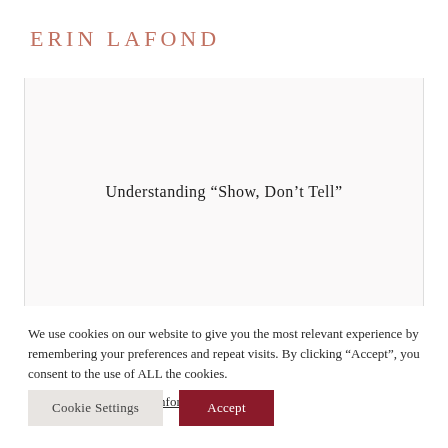ERIN LAFOND
Understanding “Show, Don’t Tell”
We use cookies on our website to give you the most relevant experience by remembering your preferences and repeat visits. By clicking “Accept”, you consent to the use of ALL the cookies.
Do not sell my personal information.
Cookie Settings
Accept